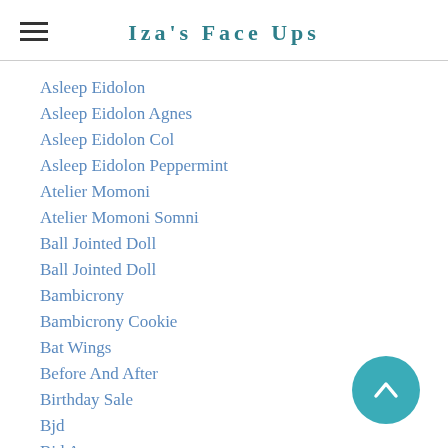Iza's Face Ups
Asleep Eidolon
Asleep Eidolon Agnes
Asleep Eidolon Col
Asleep Eidolon Peppermint
Atelier Momoni
Atelier Momoni Somni
Ball Jointed Doll
Ball Jointed Doll
Bambicrony
Bambicrony Cookie
Bat Wings
Before And After
Birthday Sale
Bjd
Bjd Accessory
Bjd Cat
Bjdcollectasy